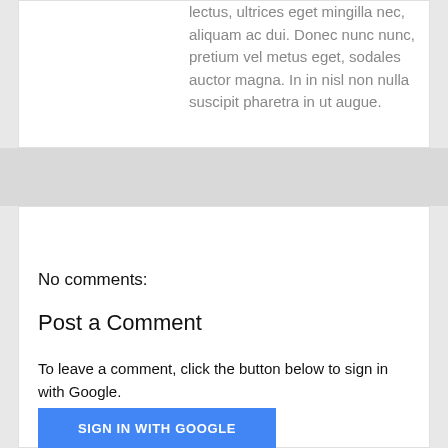lectus, ultrices eget mingilla nec, aliquam ac dui. Donec nunc nunc, pretium vel metus eget, sodales auctor magna. In in nisl non nulla suscipit pharetra in ut augue.
No comments:
Post a Comment
To leave a comment, click the button below to sign in with Google.
SIGN IN WITH GOOGLE